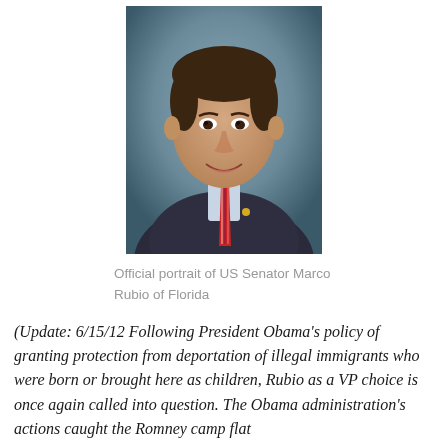[Figure (photo): Official portrait photograph of US Senator Marco Rubio of Florida, wearing a dark suit with a red striped tie, smiling, against a blue-grey background]
Official portrait of US Senator Marco Rubio of Florida
(Update: 6/15/12 Following President Obama’s policy of granting protection from deportation of illegal immigrants who were born or brought here as children, Rubio as a VP choice is once again called into question. The Obama administration’s actions caught the Romney camp flat